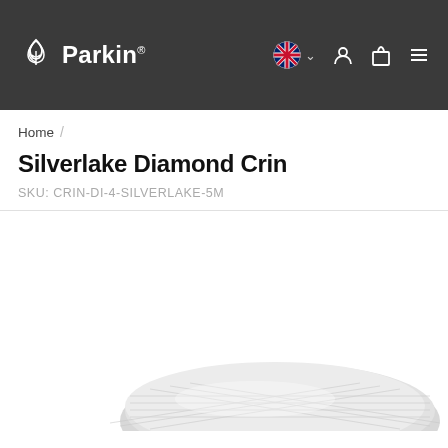Parkin. [navigation header with logo, language selector, account icon, cart icon, menu icon]
Home /
Silverlake Diamond Crin
SKU: CRIN-DI-4-SILVERLAKE-5M
[Figure (photo): Product photo showing silver/grey diamond crin fabric rolled/folded, partially visible at the bottom of the page on a white background.]